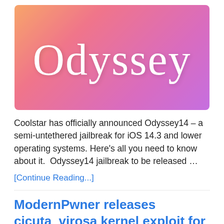[Figure (illustration): Odyssey jailbreak banner with gradient background (orange to pink to purple) and the word 'Odyssey' in large white cursive/script font]
Coolstar has officially announced Odyssey14 – a semi-untethered jailbreak for iOS 14.3 and lower operating systems. Here's all you need to know about it.  Odyssey14 jailbreak to be released …
[Continue Reading...]
ModernPwner releases cicuta_virosa kernel exploit for iOS 14.3